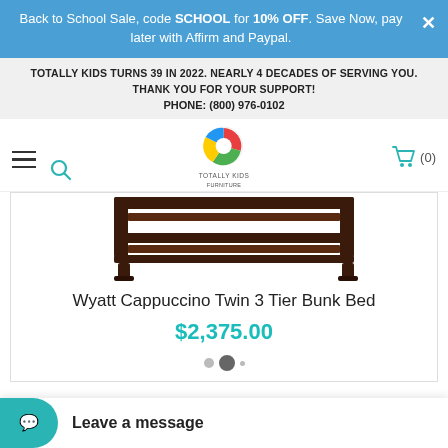Back to School Sale, code SCHOOL for 10% OFF. Save Now, pay later with Affirm and Paypal.
TOTALLY KIDS TURNS 39 IN 2022. NEARLY 4 DECADES OF SERVING YOU. THANK YOU FOR YOUR SUPPORT! PHONE: (800) 976-0102
[Figure (logo): Totally Kids furniture logo with colorful circular icon]
[Figure (photo): Wyatt Cappuccino Twin 3 Tier Bunk Bed - dark wood bunk bed frame product photo]
Wyatt Cappuccino Twin 3 Tier Bunk Bed
$2,375.00
Leave a message